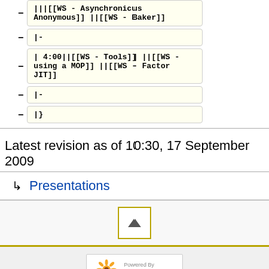– |||[[WS - Asynchronicus Anonymous]] ||[[WS - Baker]]
– |-
– | 4:00||[[WS - Tools]] ||[[WS - using a MOP]] ||[[WS - Factor JIT]]
– |-
– |}
Latest revision as of 10:30, 17 September 2009
↳ Presentations
[Figure (other): Scroll to top button with upward triangle arrow]
[Figure (logo): Powered by MediaWiki badge with sunflower logo]
This page was last edited on 17 September 2009, at 10:30. Privacy policy About JVMLangSummit Disclaimers